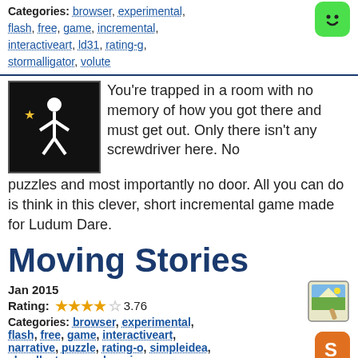Categories: browser, experimental, flash, free, game, incremental, interactiveart, ld31, rating-g, stormalligator, volute
[Figure (screenshot): Green rounded square icon with a smiley face]
[Figure (screenshot): Black background game thumbnail with a white stick figure and a yellow star]
You're trapped in a room with no memory of how you got there and must get out. Only there isn't any screwdriver here. No puzzles and most importantly no door. All you can do is think in this clever, short incremental game made for Ludum Dare.
Moving Stories
Jan 2015
Rating: 3.76
Categories: browser, experimental, flash, free, game, interactiveart, narrative, puzzle, rating-o, simpleidea, slavelle, tcavanagh, unique
[Figure (screenshot): Pixel art game thumbnail with a girl character and a suitcase]
[Figure (screenshot): Orange rounded square icon with letter S]
Take a little, take it all, or take nothing in this unique, clever game from Stephen Lavelle and Terry Cavanagh. You're trying to decide what to pack in your tiny suitcase, and what you take and what you alternately leave behind determines the short story and promise...